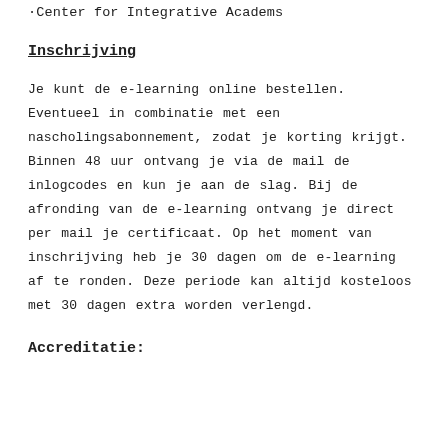·Center for Integrative Academs
Inschrijving
Je kunt de e-learning online bestellen. Eventueel in combinatie met een nascholingsabonnement, zodat je korting krijgt. Binnen 48 uur ontvang je via de mail de inlogcodes en kun je aan de slag. Bij de afronding van de e-learning ontvang je direct per mail je certificaat. Op het moment van inschrijving heb je 30 dagen om de e-learning af te ronden. Deze periode kan altijd kosteloos met 30 dagen extra worden verlengd.
Accreditatie: